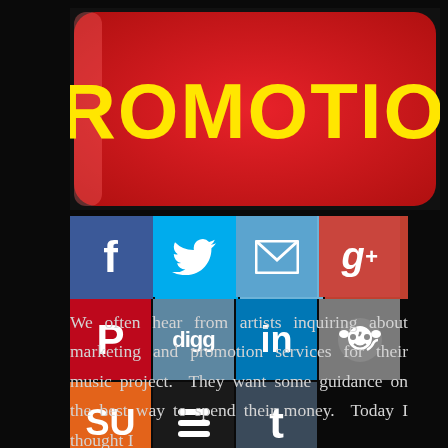[Figure (illustration): Red rounded rectangle button with bold yellow text reading PROMOTION on a black background]
[Figure (infographic): Row of social media sharing icon buttons: Facebook (blue f), Twitter (blue bird), Email (teal envelope), Google+ (red g), Pinterest (red P), Digg (blue digg), LinkedIn (blue in), Reddit (gray alien); second row: StumbleUpon (orange su), Buffer (black layers), Tumblr (dark t)]
We often hear from artists inquiring about marketing and promotion services for their music project.  They want some guidance on the best way to spend their money.  Today I thought I